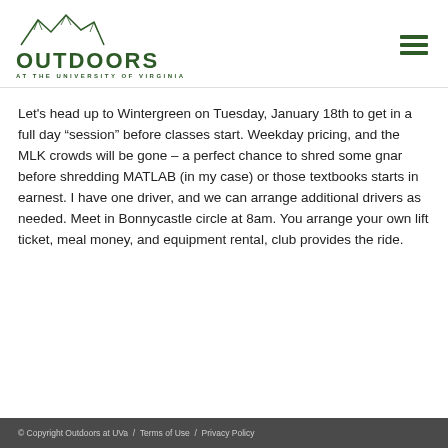[Figure (logo): Outdoors at the University of Virginia logo with mountain illustration and text]
Let’s head up to Wintergreen on Tuesday, January 18th to get in a full day “session” before classes start. Weekday pricing, and the MLK crowds will be gone – a perfect chance to shred some gnar before shredding MATLAB (in my case) or those textbooks starts in earnest. I have one driver, and we can arrange additional drivers as needed. Meet in Bonnycastle circle at 8am. You arrange your own lift ticket, meal money, and equipment rental, club provides the ride.
© Copyright Outdoors at UVa  /  Terms of Use  /  Privacy Policy